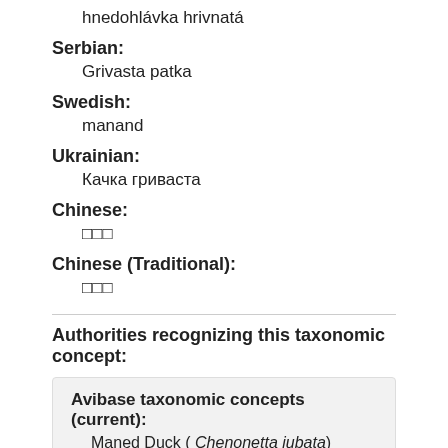hnedohlávka hrivnatá
Serbian: Grivasta patka
Swedish: manand
Ukrainian: Качка гриваста
Chinese: □□□
Chinese (Traditional): □□□
Authorities recognizing this taxonomic concept:
Avibase taxonomic concepts (current): Maned Duck ( Chenonetta jubata)
Avibase taxonomic concepts (August 2013)